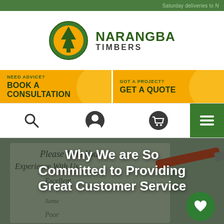Saturday deliveries to N
[Figure (logo): Narangba Timbers logo: green circle with white pine tree icon, alongside bold text NARANGBA TIMBERS in dark green]
NEED ADVICE?
BOOK A CONSULTATION
GOT A PROJECT?
GET A QUOTE
[Figure (screenshot): Icon navigation bar with search, user account, shopping cart icons and green hamburger menu button]
[Figure (photo): Background photo of a customer rating form with text 'Please Rate Your Experience With Us: Excellent ... Poor' and a red pen]
Why We are So Committed to Providing Great Customer Service